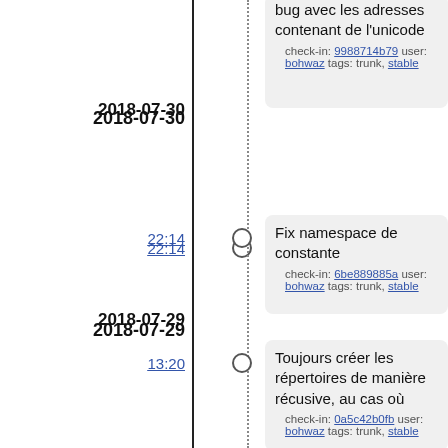bug avec les adresses contenant de l'unicode
check-in: 9988714b79 user: bohwaz tags: trunk, stable
2018-07-30
22:14
Fix namespace de constante
check-in: 6be889885a user: bohwaz tags: trunk, stable
2018-07-29
13:20
Toujours créer les répertoires de manière récusive, au cas où
check-in: 0a5c42b0fb user: bohwaz tags: trunk, stable
2018-07-27
12:41
Corrige cotisations par durée affichées pas à jour, patch suggéré par @daniel
check-in: 774d4cee5e user: bohwaz tags: trunk, stable
2018-07-26